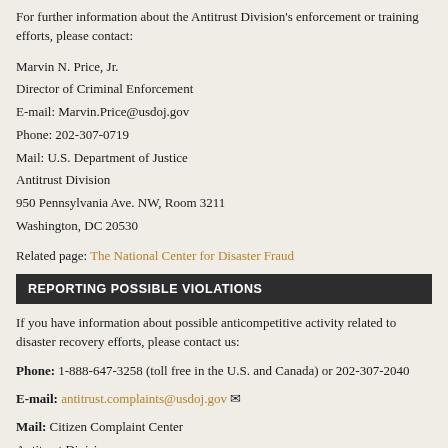For further information about the Antitrust Division's enforcement or training efforts, please contact:
Marvin N. Price, Jr.
Director of Criminal Enforcement
E-mail: Marvin.Price@usdoj.gov
Phone: 202-307-0719
Mail: U.S. Department of Justice
Antitrust Division
950 Pennsylvania Ave. NW, Room 3211
Washington, DC 20530
Related page: The National Center for Disaster Fraud
REPORTING POSSIBLE VIOLATIONS
If you have information about possible anticompetitive activity related to disaster recovery efforts, please contact us:
Phone: 1-888-647-3258 (toll free in the U.S. and Canada) or 202-307-2040
E-mail: antitrust.complaints@usdoj.gov
Mail: Citizen Complaint Center
Antitrust Division
950 Pennsylvania Ave., NW
Room 3322